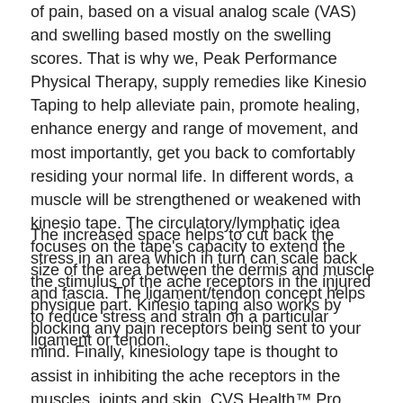of pain, based on a visual analog scale (VAS) and swelling based mostly on the swelling scores. That is why we, Peak Performance Physical Therapy, supply remedies like Kinesio Taping to help alleviate pain, promote healing, enhance energy and range of movement, and most importantly, get you back to comfortably residing your normal life. In different words, a muscle will be strengthened or weakened with kinesio tape. The circulatory/lymphatic idea focuses on the tape's capacity to extend the size of the area between the dermis and muscle and fascia. The ligament/tendon concept helps to reduce stress and strain on a particular ligament or tendon.
The increased space helps to cut back the stress in an area which in turn can scale back the stimulus of the ache receptors in the injured physique part. Kinesio taping also works by blocking any pain receptors being sent to your mind. Finally, kinesiology tape is thought to assist in inhibiting the ache receptors in the muscles, joints and skin. CVS Health™ Pro Kinesiology Tape provides assist to muscles and joints without limiting vary of movement. Kinesio taping can assist stabilize and provide support for these joints, while still allowing them to move around their intended vary of motion. When Kinesio Clinical Video Series Throat Mouth Instructional DVD Tape is utilized to a muscle, it has one among two results – facilitation or inhibition of that muscle. This results in improved muscle power and exercise. What makes Kinesio